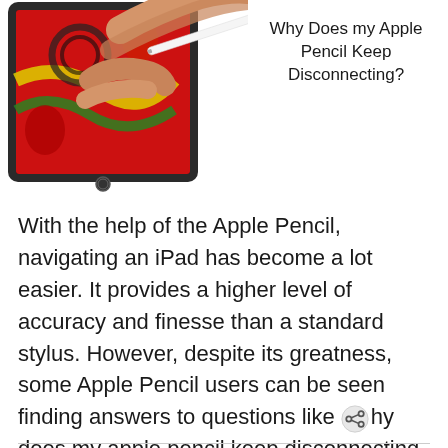[Figure (photo): Hand holding Apple Pencil writing on an iPad with colorful artwork on screen]
Why Does my Apple Pencil Keep Disconnecting?
With the help of the Apple Pencil, navigating an iPad has become a lot easier. It provides a higher level of accuracy and finesse than a standard stylus. However, despite its greatness, some Apple Pencil users can be seen finding answers to questions like hy does my apple pencil keep disconnecting. The Apple Pencil [...]